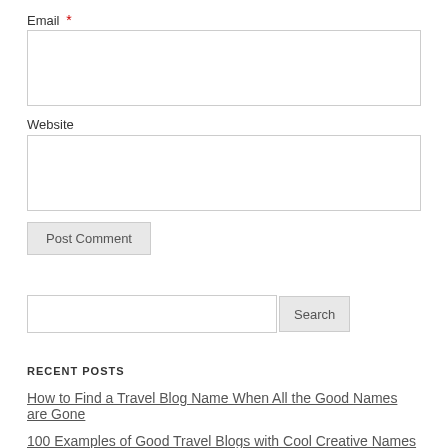Email *
[Figure (screenshot): Email input text field (empty, with border)]
Website
[Figure (screenshot): Website input text field (empty, with border)]
[Figure (screenshot): Post Comment button]
[Figure (screenshot): Search input field with Search button]
RECENT POSTS
How to Find a Travel Blog Name When All the Good Names are Gone
100 Examples of Good Travel Blogs with Cool Creative Names